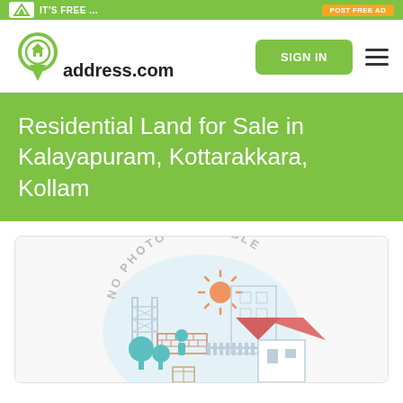IT'S FREE ... (top bar with hello address logo and button)
[Figure (logo): helloaddress.com logo with green map pin icon containing a house]
SIGN IN
Residential Land for Sale in Kalayapuram, Kottarakkara, Kollam
[Figure (illustration): No Photo Available placeholder image with an illustrated residential scene showing a house, construction, trees, sun, and people]